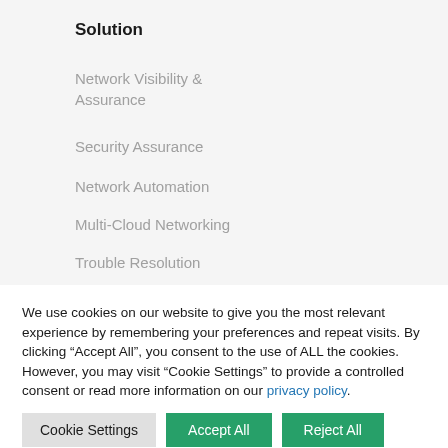Solution
Network Visibility & Assurance
Security Assurance
Network Automation
Multi-Cloud Networking
Trouble Resolution
Your Self-Driving Network
The Road to the
We use cookies on our website to give you the most relevant experience by remembering your preferences and repeat visits. By clicking “Accept All”, you consent to the use of ALL the cookies. However, you may visit “Cookie Settings” to provide a controlled consent or read more information on our privacy policy.
Cookie Settings | Accept All | Reject All